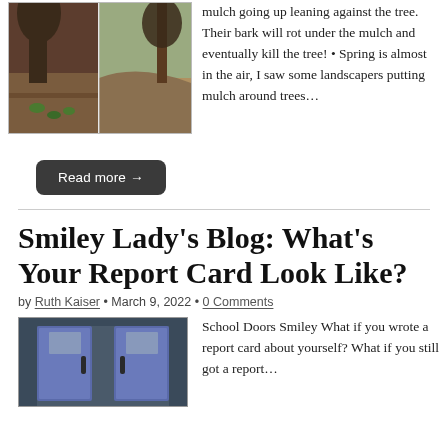[Figure (photo): Two photos side by side showing mulched tree beds with red/dark mulch around trees outdoors]
mulch going up leaning against the tree.   Their bark will rot under the mulch and eventually kill the tree! • Spring is almost in the air, I saw some landscapers putting mulch around trees…
Read more →
Smiley Lady's Blog: What's Your Report Card Look Like?
by Ruth Kaiser • March 9, 2022 • 0 Comments
[Figure (photo): School blue double doors entrance]
School Doors Smiley What if you wrote a report card about yourself? What if you still got a report…